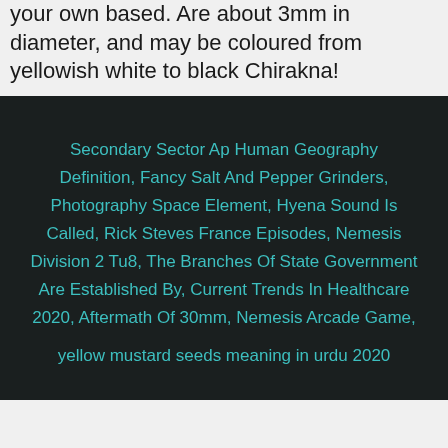your own based. Are about 3mm in diameter, and may be coloured from yellowish white to black Chirakna!
Secondary Sector Ap Human Geography Definition, Fancy Salt And Pepper Grinders, Photography Space Element, Hyena Sound Is Called, Rick Steves France Episodes, Nemesis Division 2 Tu8, The Branches Of State Government Are Established By, Current Trends In Healthcare 2020, Aftermath Of 30mm, Nemesis Arcade Game,
yellow mustard seeds meaning in urdu 2020